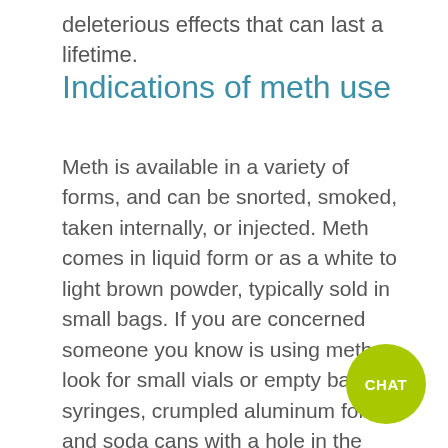deleterious effects that can last a lifetime.
Indications of meth use
Meth is available in a variety of forms, and can be snorted, smoked, taken internally, or injected. Meth comes in liquid form or as a white to light brown powder, typically sold in small bags. If you are concerned someone you know is using meth, look for small vials or empty bags, syringes, crumpled aluminum foil, and soda cans with a hole in the side. Finding any of these items is a strong indication that a person may be
[Figure (other): Green circular CHAT button in the bottom-right corner of the page]